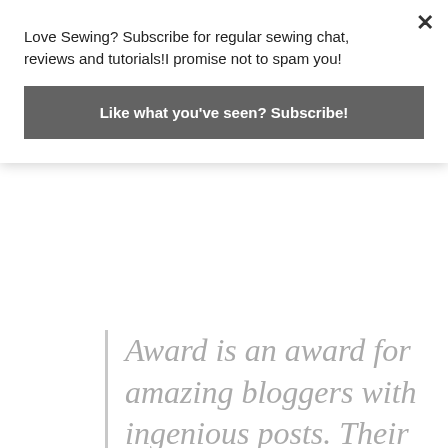Love Sewing? Subscribe for regular sewing chat, reviews and tutorials!I promise not to spam you!
Like what you've seen? Subscribe!
Award is an award for amazing bloggers with ingenious posts. Their blog not only captivates, it inspires and motivates. They are one of the best out there, and they deserve every recognition they get.